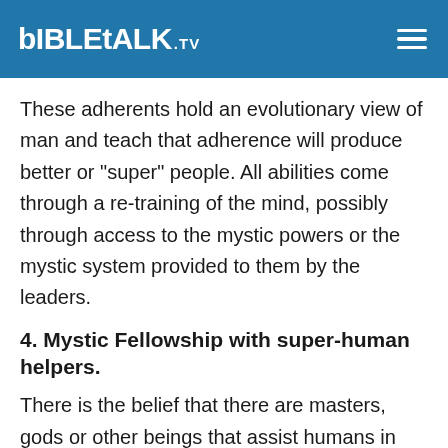BibleTalk.TV
These adherents hold an evolutionary view of man and teach that adherence will produce better or "super" people. All abilities come through a re-training of the mind, possibly through access to the mystic powers or the mystic system provided to them by the leaders.
4. Mystic Fellowship with super-human helpers.
There is the belief that there are masters, gods or other beings that assist humans in achieving newer and higher levels of spiritual awareness. The work of leaders is to be channels or communicators for these.